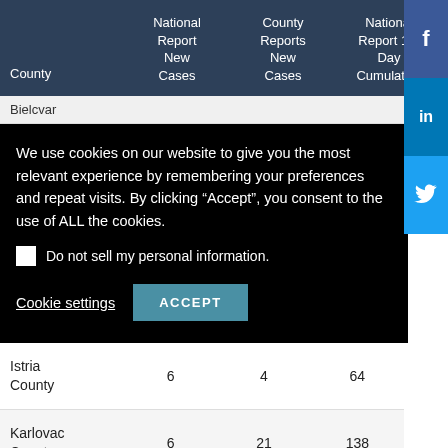| County | National Report New Cases | County Reports New Cases | National Report 14-Day Cumulative |
| --- | --- | --- | --- |
| Istria County | 6 | 4 | 64 |
| Karlovac County | 6 | 21 | 138 |
Bielcvar
We use cookies on our website to give you the most relevant experience by remembering your preferences and repeat visits. By clicking “Accept”, you consent to the use of ALL the cookies.
□ Do not sell my personal information.

Cookie settings   ACCEPT